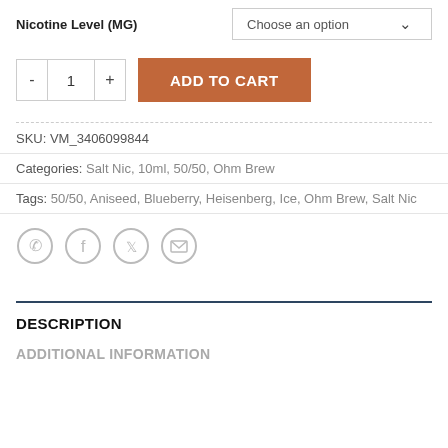Nicotine Level (MG)
Choose an option
- 1 +
ADD TO CART
SKU: VM_3406099844
Categories: Salt Nic, 10ml, 50/50, Ohm Brew
Tags: 50/50, Aniseed, Blueberry, Heisenberg, Ice, Ohm Brew, Salt Nic
[Figure (other): Social share icons: WhatsApp, Facebook, Twitter, Email]
DESCRIPTION
ADDITIONAL INFORMATION